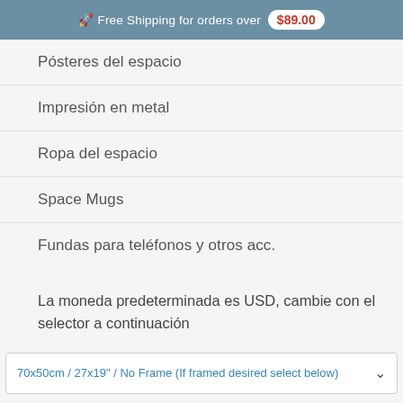🚀 Free Shipping for orders over $89.00
Pósteres del espacio
Impresión en metal
Ropa del espacio
Space Mugs
Fundas para teléfonos y otros acc.
La moneda predeterminada es USD, cambie con el selector a continuación
70x50cm / 27x19" / No Frame (If framed desired select below)
AÑADIR AL CARRITO